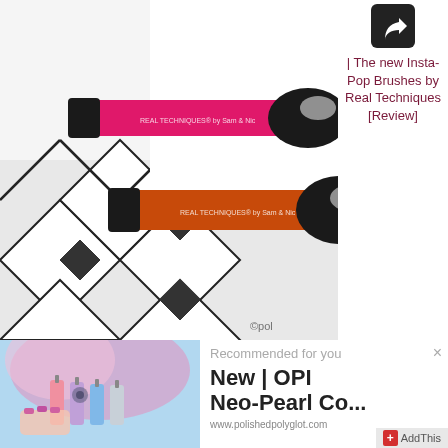[Figure (photo): Two Real Techniques makeup brushes — one with a hot pink metallic handle and one with an orange metallic handle — lying on a black-and-white geometric patterned fabric background. Copyright watermark 'pol' visible at bottom right.]
[Figure (logo): Share/forward icon — white arrow in a rounded dark square button]
| The new Insta-Pop Brushes by Real Techniques [Review]
[Figure (photo): Nail polish bottles in pastel colors (pink, lavender, blue, silver) with colorful hair visible in background, on light blue surface. Girl's manicured hand also visible.]
Recommended for you
New | OPI Neo-Pearl Co...
www.polishedpolyglot.com
AddThis